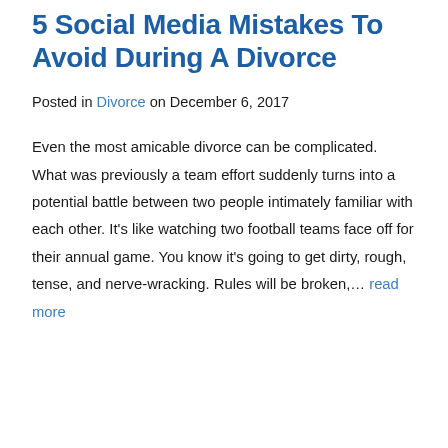5 Social Media Mistakes To Avoid During A Divorce
Posted in Divorce on December 6, 2017
Even the most amicable divorce can be complicated. What was previously a team effort suddenly turns into a potential battle between two people intimately familiar with each other. It's like watching two football teams face off for their annual game. You know it's going to get dirty, rough, tense, and nerve-wracking. Rules will be broken,… read more